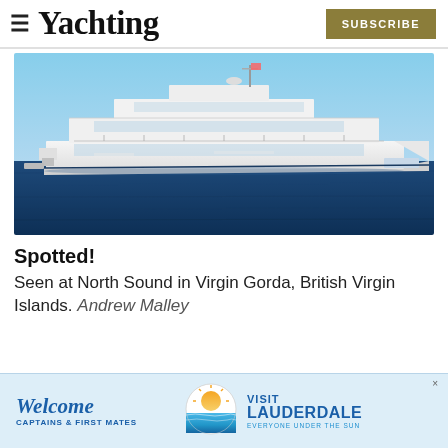Yachting — SUBSCRIBE
[Figure (photo): Large white modern superyacht photographed on blue ocean water, showing sleek flat-top multi-deck design with extensive glass, seen from the side. Sky is clear blue.]
Spotted!
Seen at North Sound in Virgin Gorda, British Virgin Islands. Andrew Malley
[Figure (infographic): Advertisement banner: 'Welcome CAPTAINS & FIRST MATES' on left with Visit Lauderdale logo and text 'VISIT LAUDERDALE EVERYONE UNDER THE SUN' on right. Light blue background.]